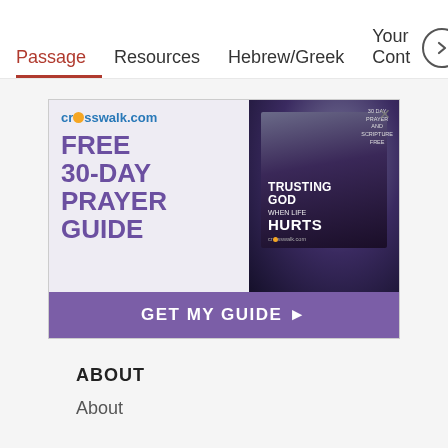Passage  Resources  Hebrew/Greek  Your Cont
[Figure (screenshot): Advertisement from crosswalk.com promoting a Free 30-Day Prayer Guide with book 'Trusting God When Life Hurts'. Purple and white design with 'GET MY GUIDE' CTA button.]
ABOUT
About